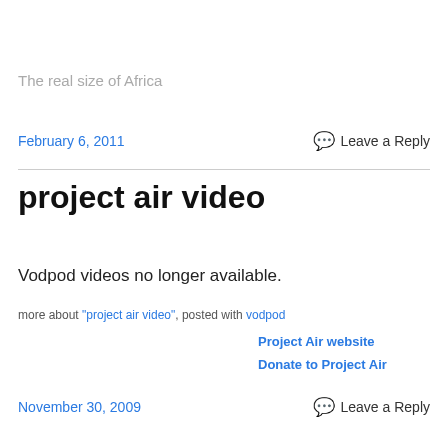The real size of Africa
February 6, 2011    Leave a Reply
project air video
Vodpod videos no longer available.
more about "project air video", posted with vodpod
Project Air website
Donate to Project Air
November 30, 2009    Leave a Reply